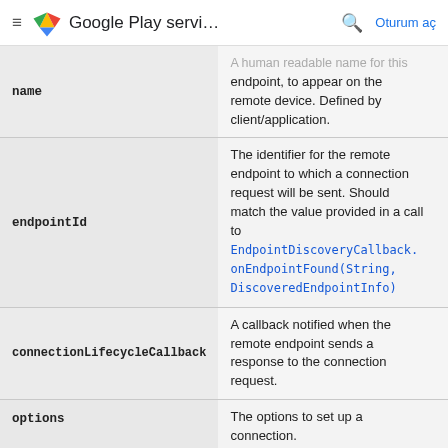Google Play servi... | Oturum aç
| Parameter | Description |
| --- | --- |
| name | A human readable name for this endpoint, to appear on the remote device. Defined by client/application. |
| endpointId | The identifier for the remote endpoint to which a connection request will be sent. Should match the value provided in a call to EndpointDiscoveryCallback.onEndpointFound(String, DiscoveredEndpointInfo) |
| connectionLifecycleCallback | A callback notified when the remote endpoint sends a response to the connection request. |
| options | The options to set up a connection. |